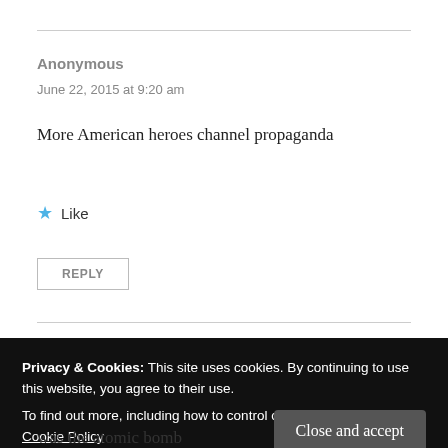Anonymous
June 22, 2015 at 9:20 am
More American heroes channel propaganda
★ Like
REPLY
Privacy & Cookies: This site uses cookies. By continuing to use this website, you agree to their use.
To find out more, including how to control cookies, see here: Cookie Policy
Close and accept
was the atomic bomb